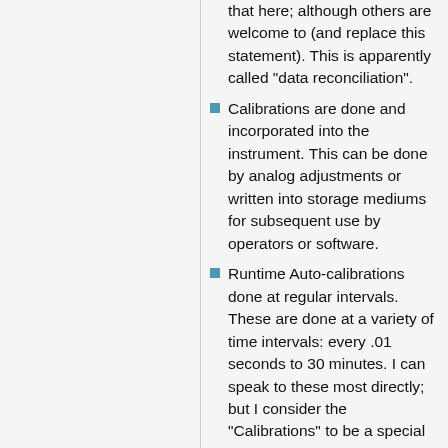that here; although others are welcome to (and replace this statement). This is apparently called "data reconciliation".
Calibrations are done and incorporated into the instrument. This can be done by analog adjustments or written into storage mediums for subsequent use by operators or software.
Runtime Auto-calibrations done at regular intervals. These are done at a variety of time intervals: every .01 seconds to 30 minutes. I can speak to these most directly; but I consider the "Calibrations" to be a special